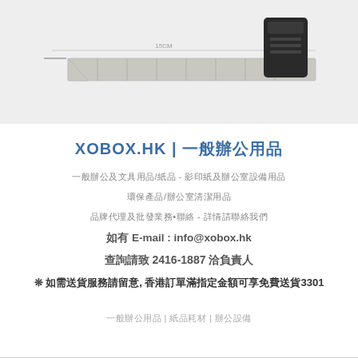[Figure (photo): Product image showing a box cutter blade (snap-off blade) approximately 15cm long, metallic silver color with segmented sections, alongside a black blade holder/case, on a light gray background]
XOBOX.HK | 一般辦公用品
一般辦公及文具用品/紙品 - 影印紙及辦公室設備用品
環保產品/辦公室清潔用品
品牌代理及批發業務•聯絡 - 詳情請聯絡我們
如有 E-mail : info@xobox.hk
查詢請致 2416-1887 洽負責人
❊ 如需送貨服務請留意, 香港訂單滿指定金額可享免費送貨3301
一般辦公用品 | 紙品耗材 | 辦公設備